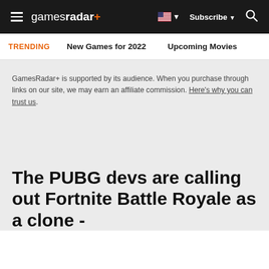gamesradar+ | Subscribe | Search
TRENDING   New Games for 2022   Upcoming Movies
GamesRadar+ is supported by its audience. When you purchase through links on our site, we may earn an affiliate commission. Here's why you can trust us.
The PUBG devs are calling out Fortnite Battle Royale as a clone -